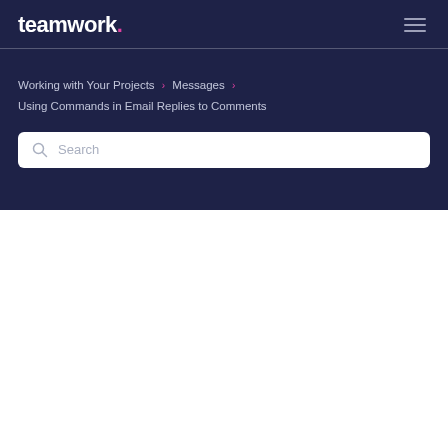teamwork.
Working with Your Projects › Messages › Using Commands in Email Replies to Comments
[Figure (other): Search input box with magnifying glass icon and placeholder text 'Search']